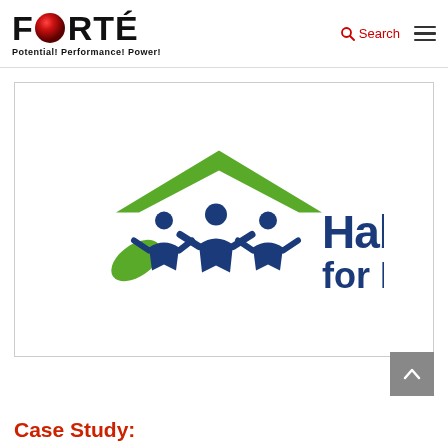FORTÉ — Potential! Performance! Power! [Search] [Menu]
[Figure (logo): Habitat for Humanity logo: green roof shape over three blue stylized human figures with green leaf below, next to bold blue text 'Habitat for Humanity' with registered trademark symbol]
Case Study: